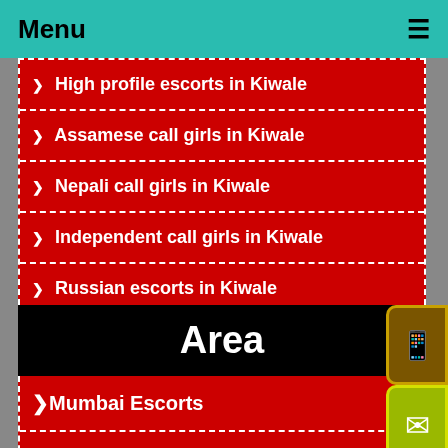Menu ≡
❯ High profile escorts in Kiwale
❯ Assamese call girls in Kiwale
❯ Nepali call girls in Kiwale
❯ Independent call girls in Kiwale
❯ Russian escorts in Kiwale
Area
❯Mumbai Escorts
❯Ahmedabad Escorts
❯Bangalore Escorts
❯Hyderabad Escorts